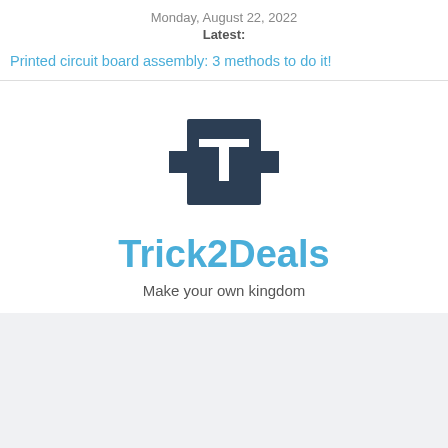Monday, August 22, 2022
Latest:
Printed circuit board assembly: 3 methods to do it!
[Figure (logo): Trick2Deals logo: dark navy square with white letter T and horizontal bar extensions, above large blue text 'Trick2Deals' and subtitle 'Make your own kingdom']